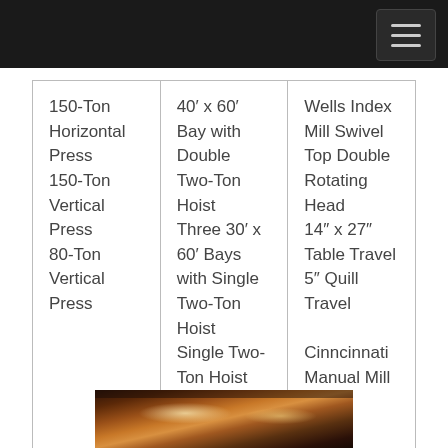| 150-Ton Horizontal Press
150-Ton Vertical Press
80-Ton Vertical Press | 40′ x 60′ Bay with Double Two-Ton Hoist
Three 30′ x 60′ Bays with Single Two-Ton Hoist
Single Two-Ton Hoist over each Hollow Spindle | Wells Index Mill Swivel Top Double Rotating Head
14″ x 27″ Table Travel
5″ Quill Travel

Cinncinnati Manual Mill |
[Figure (photo): Partial view of a workshop or manufacturing floor with warm amber/orange lighting visible at the bottom of the page]